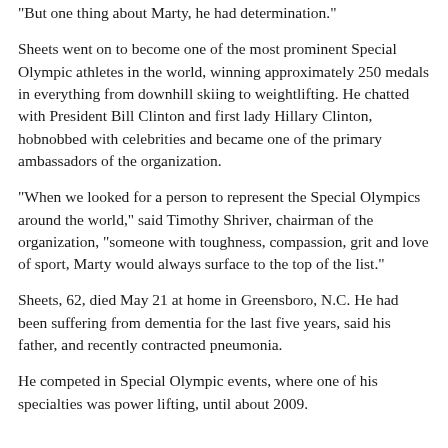“But one thing about Marty, he had determination.”
Sheets went on to become one of the most prominent Special Olympic athletes in the world, winning approximately 250 medals in everything from downhill skiing to weightlifting. He chatted with President Bill Clinton and first lady Hillary Clinton, hobnobbed with celebrities and became one of the primary ambassadors of the organization.
“When we looked for a person to represent the Special Olympics around the world,” said Timothy Shriver, chairman of the organization, “someone with toughness, compassion, grit and love of sport, Marty would always surface to the top of the list.”
Sheets, 62, died May 21 at home in Greensboro, N.C. He had been suffering from dementia for the last five years, said his father, and recently contracted pneumonia.
He competed in Special Olympic events, where one of his specialties was power lifting, until about 2009.